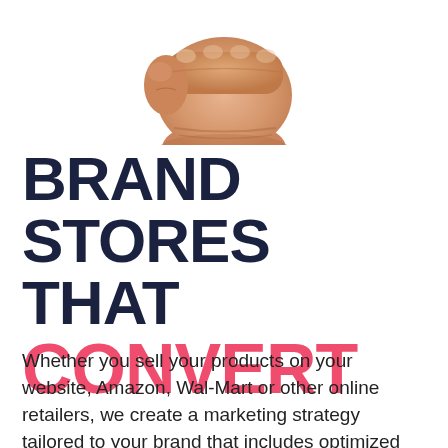[Figure (photo): Partial view of a raised fist from below, skin-toned hand against white background, cropped at top of page.]
BRAND STORES THAT CONVERT
Whether you sell your products on your website, Amazon, Wal-Mart or other online retailers, we create a marketing strategy tailored to your brand that includes optimized